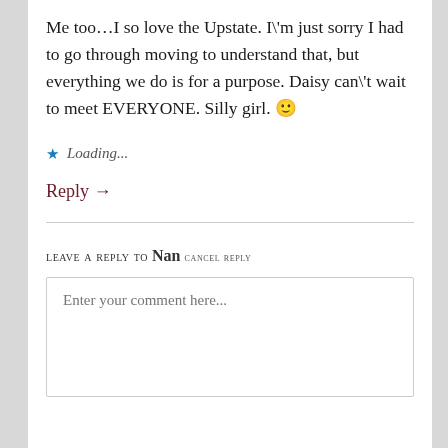Me too…I so love the Upstate. I'm just sorry I had to go through moving to understand that, but everything we do is for a purpose. Daisy can't wait to meet EVERYONE. Silly girl. 🙂
★ Loading...
Reply →
Leave a Reply to NAN cancel reply
Enter your comment here...